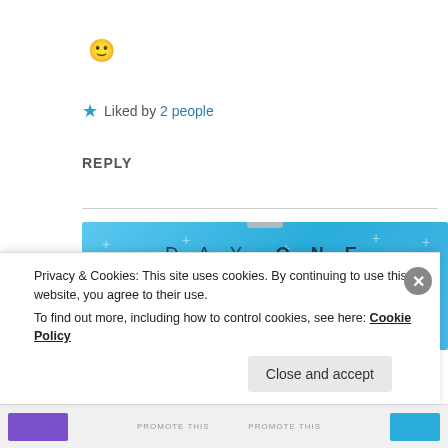[Figure (illustration): Yellow smiley face emoji]
★ Liked by 2 people
REPLY
[Figure (screenshot): DAY ONE app advertisement banner on blue background. Text: DAY ONE - The only journaling app you'll ever need. Get the app button.]
Privacy & Cookies: This site uses cookies. By continuing to use this website, you agree to their use.
To find out more, including how to control cookies, see here: Cookie Policy
Close and accept